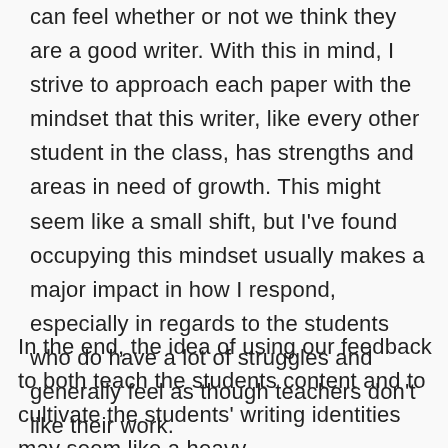can feel whether or not we think they are a good writer. With this in mind, I strive to approach each paper with the mindset that this writer, like every other student in the class, has strengths and areas in need of growth. This might seem like a small shift, but I've found occupying this mindset usually makes a major impact in how I respond, especially in regards to the students who do have a lot of struggles and generally feel as though teachers don't like their work.
In the end, the idea of using our feedback to both teach the students content and to cultivate the students' writing identities may seem like a heavy